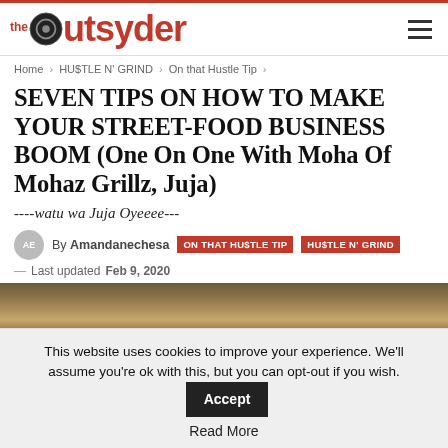The Outsyder — logo and navigation
Home > HU$TLE N' GRIND > On that Hustle Tip >
SEVEN TIPS ON HOW TO MAKE YOUR STREET-FOOD BUSINESS BOOM (One On One With Moha Of Mohaz Grillz, Juja)
----watu wa Juja Oyeeee---
By Amandanechesa   ON THAT HU$TLE TIP   HU$TLE N' GRIND
— Last updated Feb 9, 2020
[Figure (photo): Food photo — grilled street food items on a grill]
This website uses cookies to improve your experience. We'll assume you're ok with this, but you can opt-out if you wish. Accept
Read More